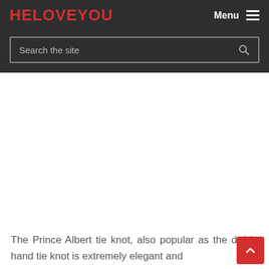HELOVEYOU | Menu
[Figure (screenshot): Search bar with placeholder text 'Search the site' and a magnifier icon on the right, on a dark background]
The Prince Albert tie knot, also popular as the d... 4-in hand tie knot is extremely elegant and